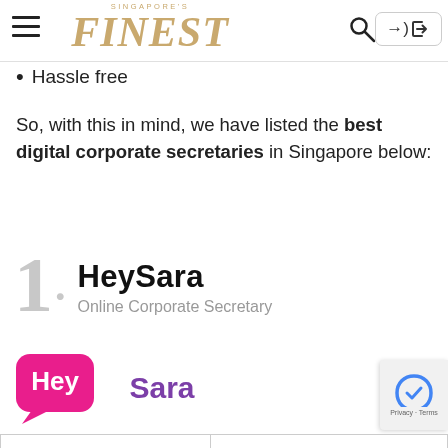Singapore's Finest — navigation bar with hamburger menu, logo, search icon, and sign-in button
Hassle free
So, with this in mind, we have listed the best digital corporate secretaries in Singapore below:
1. HeySara — Online Corporate Secretary
[Figure (logo): HeySara logo — pink speech-bubble icon with 'Hey' in white and 'Sara' in purple text]
| Services |  |
| --- | --- |
| Services | Digital Corporate Secretary |
|  | Digital Only Plan: |